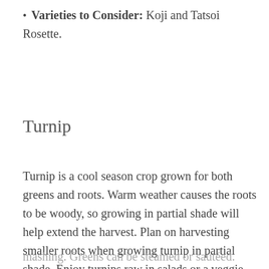Varieties to Consider: Koji and Tatsoi Rosette.
Turnip
Turnip is a cool season crop grown for both greens and roots. Warm weather causes the roots to be woody, so growing in partial shade will help extend the harvest. Plan on harvesting smaller roots when growing turnip in partial shade. Enjoy turnips raw in salads or a veggie tray, or cooked by roasting, boiling and mashing. Greens can be steamed or sautéed.